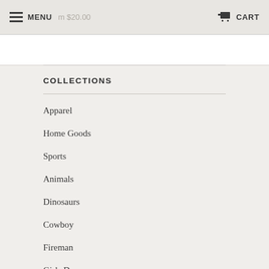MENU  $20.00  CART
COLLECTIONS
Apparel
Home Goods
Sports
Animals
Dinosaurs
Cowboy
Fireman
Girls Decor
Science & Space
Construction Tools